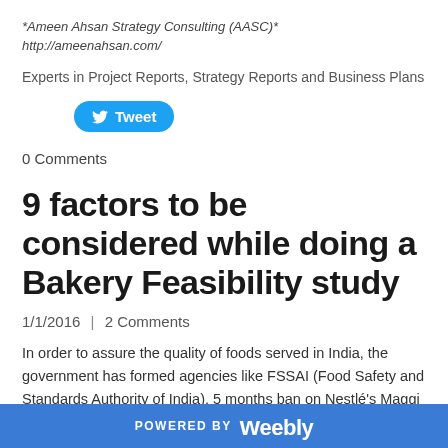*Ameen Ahsan Strategy Consulting (AASC)*
http://ameenahsan.com/
Experts in Project Reports, Strategy Reports and Business Plans
[Figure (other): Twitter Tweet button (blue rounded rectangle with bird icon and 'Tweet' label)]
0 Comments
9 factors to be considered while doing a Bakery Feasibility study
1/1/2016  |  2 Comments
In order to assure the quality of foods served in India, the government has formed agencies like FSSAI (Food Safety and Standards Authority of India). 5 months ban on Nestlé's Maggi made around 450 CR lost for the company (Business Plus Dec 2015). Now a
POWERED BY weebly